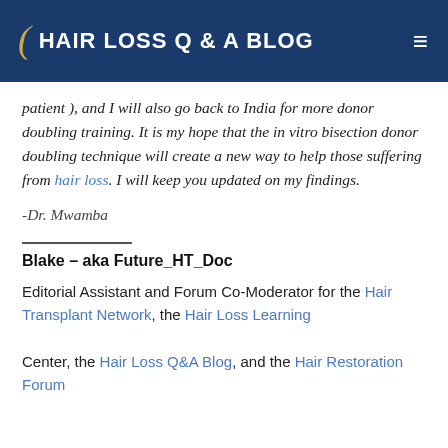HAIR LOSS Q & A BLOG
patient ), and I will also go back to India for more donor doubling training. It is my hope that the in vitro bisection donor doubling technique will create a new way to help those suffering from hair loss. I will keep you updated on my findings.
-Dr. Mwamba
Blake – aka Future_HT_Doc
Editorial Assistant and Forum Co-Moderator for the Hair Transplant Network, the Hair Loss Learning Center, the Hair Loss Q&A Blog, and the Hair Restoration Forum